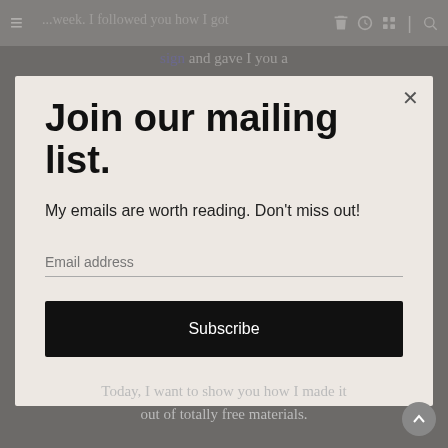≡  …week. I followed you how I got a sign and gave I you a
Join our mailing list.
My emails are worth reading. Don't miss out!
Email address
Subscribe
Today, I want to show you how I made it out of totally free materials.